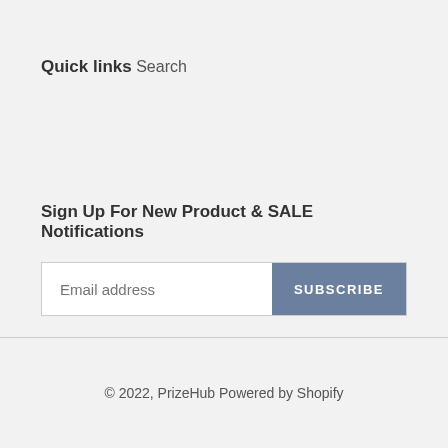Quick links
Search
Sign Up For New Product & SALE Notifications
Email address | SUBSCRIBE
© 2022, PrizeHub Powered by Shopify